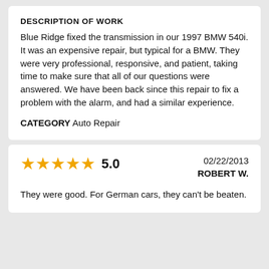DESCRIPTION OF WORK
Blue Ridge fixed the transmission in our 1997 BMW 540i. It was an expensive repair, but typical for a BMW. They were very professional, responsive, and patient, taking time to make sure that all of our questions were answered. We have been back since this repair to fix a problem with the alarm, and had a similar experience.
CATEGORY Auto Repair
★★★★★ 5.0   02/22/2013   ROBERT W.
They were good. For German cars, they can't be beaten.